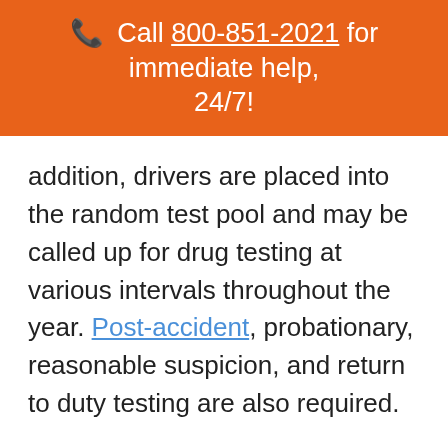📞 Call 800-851-2021 for immediate help, 24/7!
addition, drivers are placed into the random test pool and may be called up for drug testing at various intervals throughout the year. Post-accident, probationary, reasonable suspicion, and return to duty testing are also required.
The DOT requires a urine test and